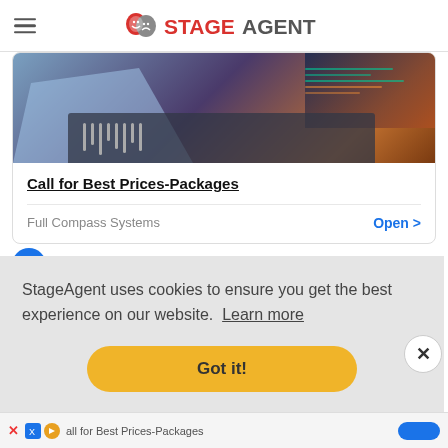StageAgent
[Figure (photo): Photo of a person using a mixing board/audio console with multiple computer screens in background]
Call for Best Prices-Packages
Full Compass Systems    Open >
ABOUT GABRIEL DAVIS
StageAgent uses cookies to ensure you get the best experience on our website.  Learn more
Got it!